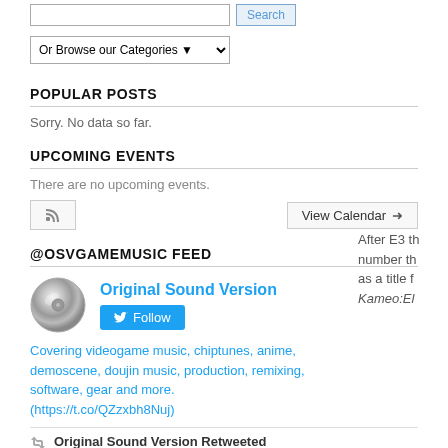[Search input] [Search button]
Or Browse our Categories ▾
POPULAR POSTS
Sorry. No data so far.
UPCOMING EVENTS
There are no upcoming events.
[RSS icon button]  View Calendar ➜
@OSVGAMEMUSIC FEED
[Figure (photo): Circular silver/metallic avatar for Original Sound Version Twitter profile]
Original Sound Version
Follow
Covering videogame music, chiptunes, anime, demoscene, doujin music, production, remixing, software, gear and more. (https://t.co/QZzxbh8Nuj)
Original Sound Version Retweeted
After E3 th... number th... as a title f... Kameo:El...